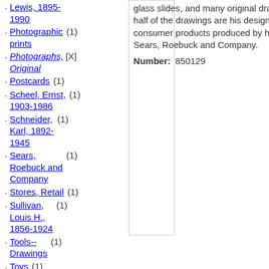Lewis, 1895-1990
Photographic prints (1)
Photographs, Original [X]
Postcards (1)
Scheel, Ernst, 1903-1986 (1)
Schneider, Karl, 1892-1945 (1)
Sears, Roebuck and Company (1)
Stores, Retail (1)
Sullivan, Louis H., 1856-1924 (1)
Tools--Drawings (1)
Toys (1)
Wind, Edgar, 1900-1971 (1)
Wolff, Ursula (1)
Wright, Frank Lloyd, 1867-1959 (1)
glass slides, and many original drawings. About half of the drawings are his designs for consumer products produced by his employer Sears, Roebuck and Company.
Number: 850129